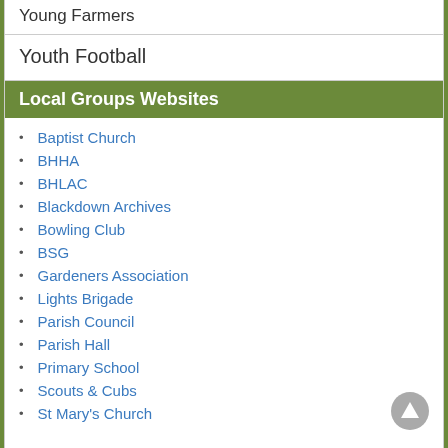Young Farmers
Youth Football
Local Groups Websites
Baptist Church
BHHA
BHLAC
Blackdown Archives
Bowling Club
BSG
Gardeners Association
Lights Brigade
Parish Council
Parish Hall
Primary School
Scouts & Cubs
St Mary's Church